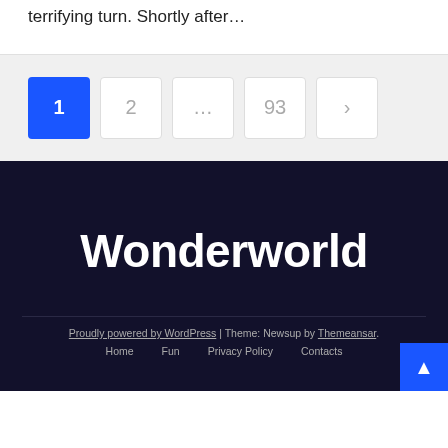terrifying turn. Shortly after…
Pagination: 1 (active), 2, ..., 93, >
Wonderworld
Proudly powered by WordPress | Theme: Newsup by Themeansar.
Home  Fun  Privacy Policy  Contacts